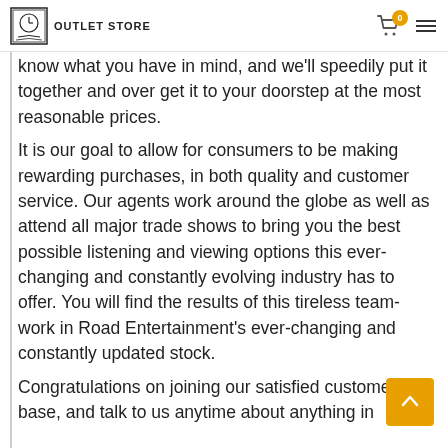OUTLET STORE
know what you have in mind, and we'll speedily put it together and over get it to your doorstep at the most reasonable prices.
It is our goal to allow for consumers to be making rewarding purchases, in both quality and customer service. Our agents work around the globe as well as attend all major trade shows to bring you the best possible listening and viewing options this ever-changing and constantly evolving industry has to offer. You will find the results of this tireless team-work in Road Entertainment's ever-changing and constantly updated stock.
Congratulations on joining our satisfied customer base, and talk to us anytime about anything in